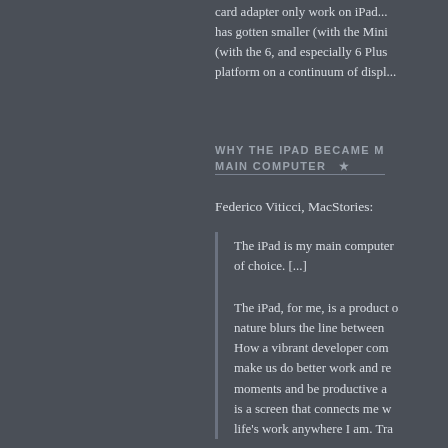card adapter only work on iPad... has gotten smaller (with the Mini)... (with the 6, and especially 6 Plus)... platform on a continuum of display...
WHY THE IPAD BECAME MY MAIN COMPUTER ★
Federico Viticci, MacStories:
The iPad is my main computer... of choice. [...]
The iPad, for me, is a product... nature blurs the line between... How a vibrant developer com... make us do better work and re... moments and be productive a... is a screen that connects me w... life's work anywhere I am. Tra...